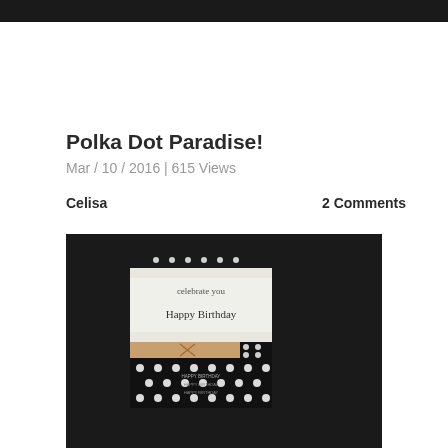[Figure (photo): Top portion of a photo — dark/black background cropped at top]
Polka Dot Paradise!
Mar / 10 / 2016 | 615 Views
Celisa
2 Comments
[Figure (photo): Photo of a birthday card and polka dot packaging on a dark fabric background. The card reads 'celebrate you' and 'Happy Birthday' in script. Below the card is a gold ribbon and a black and white polka dot box with 'Happy Birthday' text.]